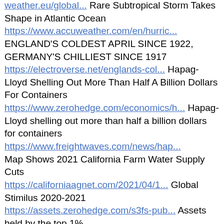weather.eu/global... Rare Subtropical Storm Takes Shape in Atlantic Ocean
https://www.accuweather.com/en/hurric... ENGLAND'S COLDEST APRIL SINCE 1922, GERMANY'S CHILLIEST SINCE 1917 https://electroverse.net/englands-col... Hapag-Lloyd Shelling Out More Than Half A Billion Dollars For Containers
https://www.zerohedge.com/economics/h... Hapag-Lloyd shelling out more than half a billion dollars for containers https://www.freightwaves.com/news/hap...
Map Shows 2021 California Farm Water Supply Cuts
https://californiaagnet.com/2021/04/1... Global Stimilus 2020-2021 https://assets.zerohedge.com/s3fs-pub... Assets held by the top 1%
https://twitter.com/NorthmanTrader/st... You know it's bearish when lumber gets lumberrrrrred
https://www.zerohedge.com/the-market-... https://www.zerohedge.com/the-market-... Fed's Balance Sheet vs lumber
https://www.zerohedge.com/the-market-... Why Record US Port Congestion May Lead To Historic Trade Deficit Blowout, Dollar Plunge
https://www.zerohedge.com/the-market-... The 2021...